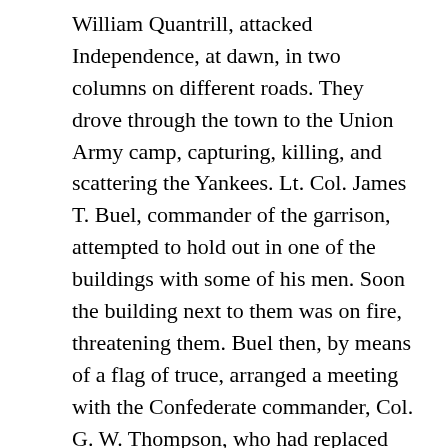William Quantrill, attacked Independence, at dawn, in two columns on different roads. They drove through the town to the Union Army camp, capturing, killing, and scattering the Yankees. Lt. Col. James T. Buel, commander of the garrison, attempted to hold out in one of the buildings with some of his men. Soon the building next to them was on fire, threatening them. Buel then, by means of a flag of truce, arranged a meeting with the Confederate commander, Col. G. W. Thompson, who had replaced Col. J. T. Hughes, killed earlier. Buel surrendered and about 150 of his men were paroled, the others had escaped, hidden, or been killed. Having taken Independence, the Rebel force headed for Kansas City. Confederate dominance in the Kansas City area continued, but not for long.
Principal Commanders: Lt. Col. James T. Buel [US]; Col. J. T. Hughes and Col. G. W. Thompson [CS]